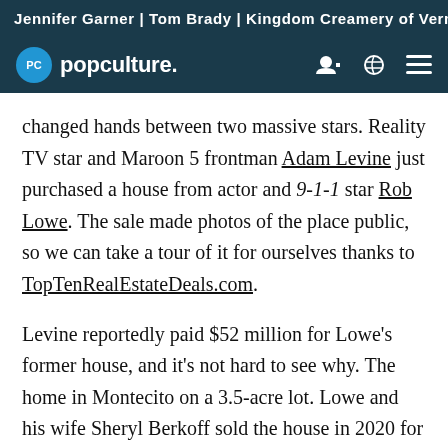Jennifer Garner | Tom Brady | Kingdom Creamery of Vermont
popculture.
changed hands between two massive stars. Reality TV star and Maroon 5 frontman Adam Levine just purchased a house from actor and 9-1-1 star Rob Lowe. The sale made photos of the place public, so we can take a tour of it for ourselves thanks to TopTenRealEstateDeals.com.
Levine reportedly paid $52 million for Lowe's former house, and it's not hard to see why. The home in Montecito on a 3.5-acre lot. Lowe and his wife Sheryl Berkoff sold the house in 2020 for $44.5 million, and the buyer flipped it for a considerable profit. Because of the nature of their